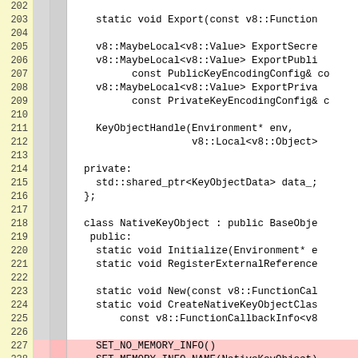[Figure (screenshot): Source code viewer showing C++ code lines 202-228, with line numbers in yellow gutter, two gray gutters, and code area. Lines 227-228 are highlighted in pink/red. Code shows KeyObjectHandle class methods and NativeKeyObject class definition.]